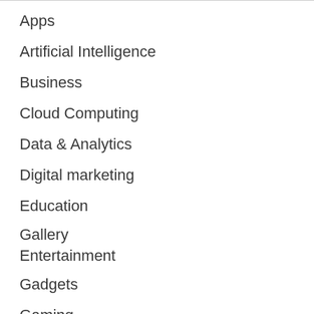Apps
Artificial Intelligence
Business
Cloud Computing
Data & Analytics
Digital marketing
Education
Gallery
Entertainment
Gadgets
Gaming
Giveaway